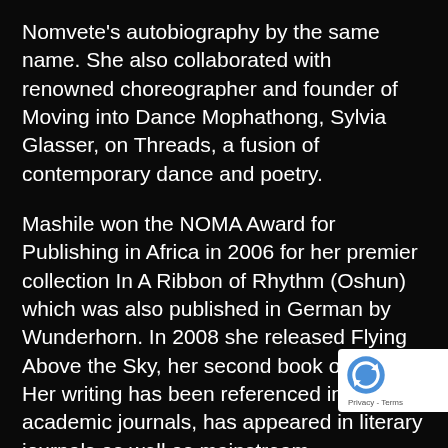Nomvete's autobiography by the same name. She also collaborated with renowned choreographer and founder of Moving into Dance Mophathong, Sylvia Glasser, on Threads, a fusion of contemporary dance and poetry.
Mashile won the NOMA Award for Publishing in Africa in 2006 for her premier collection In A Ribbon of Rhythm (Oshun) which was also published in German by Wunderhorn. In 2008 she released Flying Above the Sky, her second book of poetry. Her writing has been referenced in academic journals, has appeared in literary journals as well as mainstream publications, and is taught in high schools and tertiary institutions across South Africa. As a recording artist, Mashile has two studio albums under her belt, Lebo Mashile Live! (20... and Moya (2017).